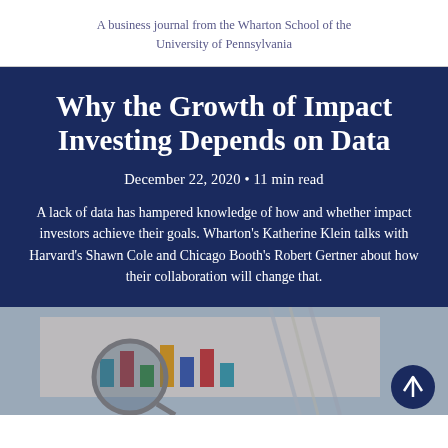A business journal from the Wharton School of the University of Pennsylvania
Why the Growth of Impact Investing Depends on Data
December 22, 2020 • 11 min read
A lack of data has hampered knowledge of how and whether impact investors achieve their goals. Wharton's Katherine Klein talks with Harvard's Shawn Cole and Chicago Booth's Robert Gertner about how their collaboration will change that.
[Figure (photo): Close-up photo of a magnifying glass over colorful bar charts on paper, with pens and documents in background]